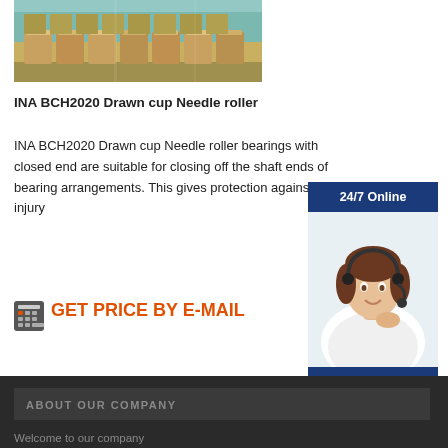[Figure (photo): Warehouse interior with stacked pallets of boxed goods on shelves under a large industrial space with teal-colored lighting]
INA BCH2020 Drawn cup Needle roller
INA BCH2020 Drawn cup Needle roller bearings with closed end are suitable for closing off the shaft ends of bearing arrangements. This gives protection against injury
[Figure (illustration): Calculator icon]
GET PRICE BY E-MAIL
[Figure (infographic): 24/7 Online customer service panel with agent photo, blue background badge, 'Have any requests, click here.' text, and Quotation button]
ABOUT OUR COMPANY
Welcome to our company